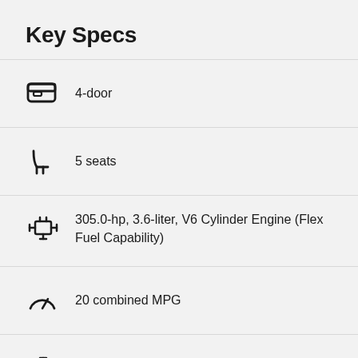Key Specs
4-door
5 seats
305.0-hp, 3.6-liter, V6 Cylinder Engine (Flex Fuel Capability)
20 combined MPG
229" length, 77.2" height